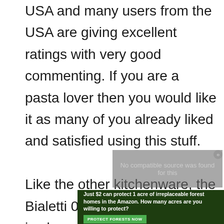USA and many users from the USA are giving excellent ratings with very good commenting. If you are a pasta lover then you would like it as many of you already liked and satisfied using this stuff.

Like the other kitchenware, the Bialetti 07265 model pasta pot is also ruling in the market. It comes up with seven attractive colors: pink, charcoal, red, orange, red pepper, coastal blue, and black raspberry purple.
[Figure (screenshot): Video player overlay showing 'No compatible source was found for this' message with a close button, overlapping the main article text]
[Figure (infographic): Advertisement banner at the bottom: dark forest background with text 'Just $2 can protect 1 acre of irreplaceable forest homes in the Amazon. How many acres are you willing to protect?' with a green 'PROTECT FORESTS NOW' button]